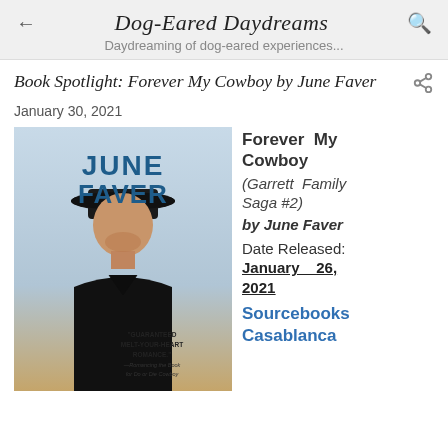Dog-Eared Daydreams
Daydreaming of dog-eared experiences...
Book Spotlight: Forever My Cowboy by June Faver
January 30, 2021
[Figure (illustration): Book cover for 'Forever My Cowboy' by June Faver showing a man in a black cowboy hat and black t-shirt. Author name 'JUNE FAVER' in large blue text. Quote: 'GUARANTEED MELT-YOUR-HEART ROMANCE.' —Romancing the Book for Do or Die Cowboy]
Forever My Cowboy
(Garrett Family Saga #2)
by June Faver
Date Released: January 26, 2021
Sourcebooks Casablanca